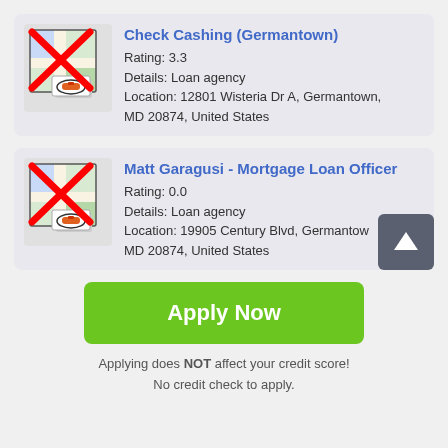[Figure (screenshot): Map placeholder icon with red X overlay and red eraser/marker icon at bottom, for Check Cashing (Germantown)]
Check Cashing (Germantown)
Rating: 3.3
Details: Loan agency
Location: 12801 Wisteria Dr A, Germantown, MD 20874, United States
[Figure (screenshot): Map placeholder icon with red X overlay and red eraser/marker icon at bottom, for Matt Garagusi - Mortgage Loan Officer]
Matt Garagusi - Mortgage Loan Officer
Rating: 0.0
Details: Loan agency
Location: 19905 Century Blvd, Germantown, MD 20874, United States
Apply Now
Applying does NOT affect your credit score!
No credit check to apply.